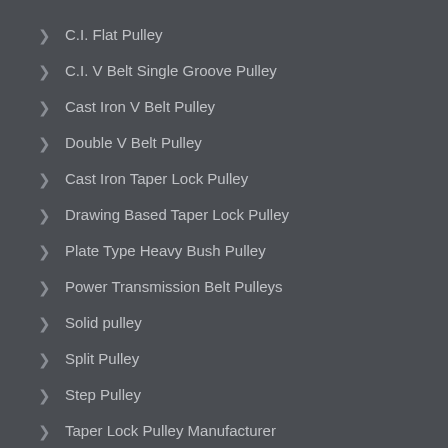C.I. Flat Pulley
C.I. V Belt Single Groove Pulley
Cast Iron V Belt Pulley
Double V Belt Pulley
Cast Iron Taper Lock Pulley
Drawing Based Taper Lock Pulley
Plate Type Heavy Bush Pulley
Power Transmission Belt Pulleys
Solid pulley
Split Pulley
Step Pulley
Taper Lock Pulley Manufacturer